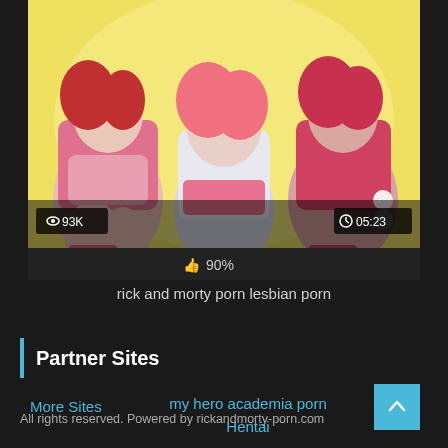[Figure (illustration): Anime/cartoon illustration of three female characters in Christmas-themed outfits in pink, red and white colors on a yellow background. Shows view count badge '93K' on lower left and duration badge '05:23' on lower right, with a dark overlay bar at bottom.]
90%
rick and morty porn lesbian porn
Partner Sites
More Sites
my hero academia porn Hentai
Skyrim
All rights reserved. Powered by rickandmorty-porn.com